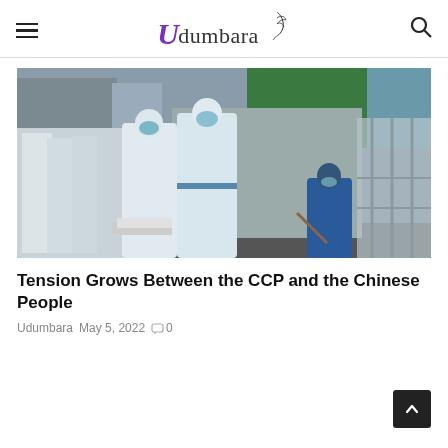Udumbara
[Figure (photo): People in white protective PPE suits and face masks standing outdoors near a grey barrier wall and metal fencing, with others in blue clothing seated nearby. Street scene in China during COVID-19 lockdown.]
Tension Grows Between the CCP and the Chinese People
Udumbara  May 5, 2022  0